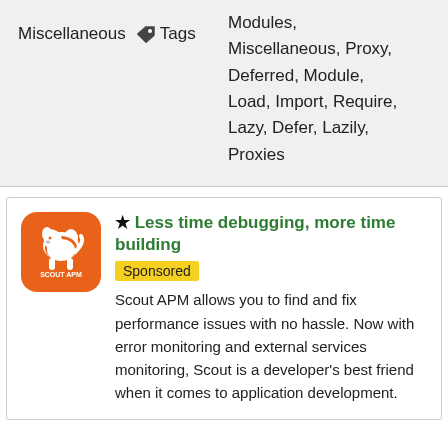Miscellaneous
Tags
Modules, Miscellaneous, Proxy, Deferred, Module, Load, Import, Require, Lazy, Defer, Lazily, Proxies
[Figure (logo): Scout APM logo: orange rounded square with white dog silhouette and text SCOUT APM]
Less time debugging, more time building
Sponsored
Scout APM allows you to find and fix performance issues with no hassle. Now with error monitoring and external services monitoring, Scout is a developer's best friend when it comes to application development.
Interest over time of emittery and lazy-req